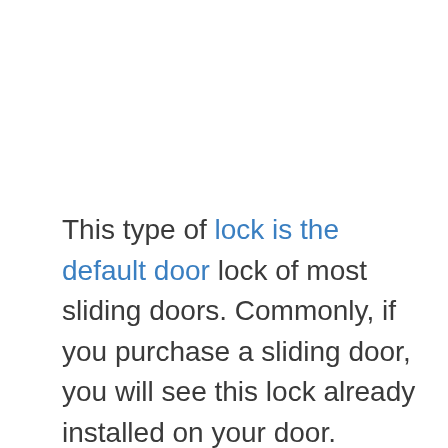This type of lock is the default door lock of most sliding doors. Commonly, if you purchase a sliding door, you will see this lock already installed on your door.